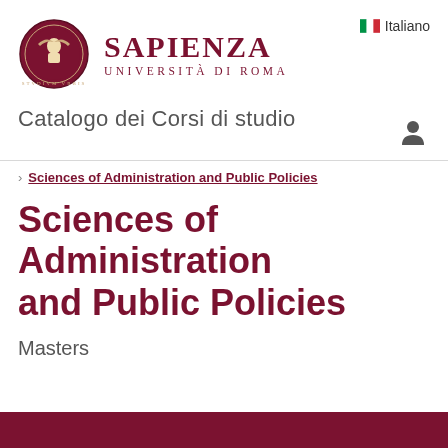[Figure (logo): Sapienza Università di Roma logo with circular seal and university name]
Italiano
Catalogo dei Corsi di studio
Sciences of Administration and Public Policies (breadcrumb)
Sciences of Administration and Public Policies
Masters